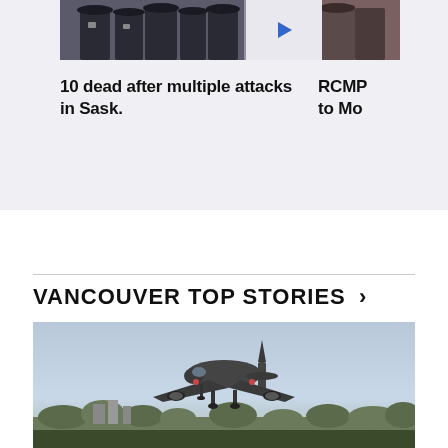[Figure (photo): Two police officers in uniform (partially visible), with a blue play button icon overlay on the right side]
[Figure (photo): Partial image of a person, cropped on the right side of the carousel]
10 dead after multiple attacks in Sask.
RCMP to Mo
VANCOUVER TOP STORIES ›
[Figure (photo): Commercial airplane approaching for landing, front view, against a hazy sky with trees and buildings in the background]